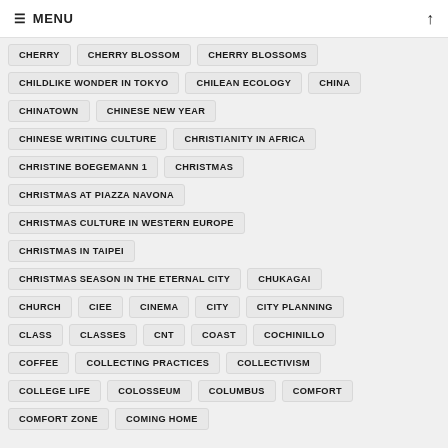≡ MENU
CHERRY
CHERRY BLOSSOM
CHERRY BLOSSOMS
CHILDLIKE WONDER IN TOKYO
CHILEAN ECOLOGY
CHINA
CHINATOWN
CHINESE NEW YEAR
CHINESE WRITING CULTURE
CHRISTIANITY IN AFRICA
CHRISTINE BOEGEMANN 1
CHRISTMAS
CHRISTMAS AT PIAZZA NAVONA
CHRISTMAS CULTURE IN WESTERN EUROPE
CHRISTMAS IN TAIPEI
CHRISTMAS SEASON IN THE ETERNAL CITY
CHUKAGAI
CHURCH
CIEE
CINEMA
CITY
CITY PLANNING
CLASS
CLASSES
CNT
COAST
COCHINILLO
COFFEE
COLLECTING PRACTICES
COLLECTIVISM
COLLEGE LIFE
COLOSSEUM
COLUMBUS
COMFORT
COMFORT ZONE
COMING HOME